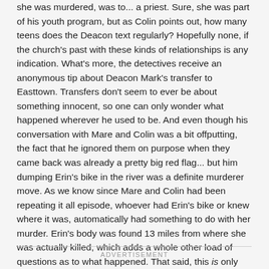she was murdered, was to... a priest. Sure, she was part of his youth program, but as Colin points out, how many teens does the Deacon text regularly? Hopefully none, if the church's past with these kinds of relationships is any indication. What's more, the detectives receive an anonymous tip about Deacon Mark's transfer to Easttown. Transfers don't seem to ever be about something innocent, so one can only wonder what happened wherever he used to be. And even though his conversation with Mare and Colin was a bit offputting, the fact that he ignored them on purpose when they came back was already a pretty big red flag... but him dumping Erin's bike in the river was a definite murderer move. As we know since Mare and Colin had been repeating it all episode, whoever had Erin's bike or knew where it was, automatically had something to do with her murder. Erin's body was found 13 miles from where she was actually killed, which adds a whole other load of questions as to what happened. That said, this is only episode 3, so I feel like this little "the Deacon did it" package is a little too neat. Unless, of course, the show is pulling a The Undoing and the suspect everyone thinks is the killer from the getgo, so it can't be him, right?! Actually is the killer. I really hope this isn't the case here, because it ended up being quite disappointing in The Undoing.
ADVERTISEMENT